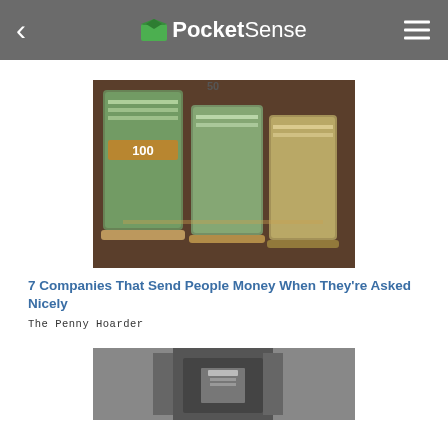PocketSense
[Figure (photo): Stacks of bundled US dollar bills (100s and 50s) piled on a wooden surface]
7 Companies That Send People Money When They're Asked Nicely
The Penny Hoarder
[Figure (photo): Man in suit with money tucked into breast pocket, black and white photo]